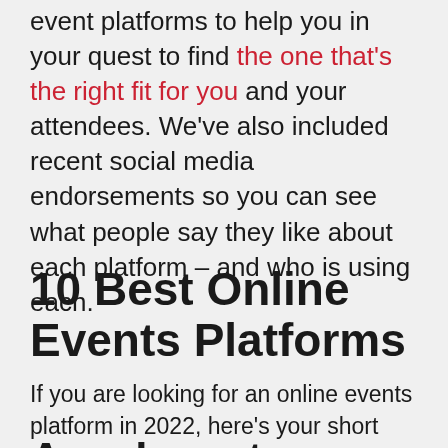event platforms to help you in your quest to find the one that's the right fit for you and your attendees. We've also included recent social media endorsements so you can see what people say they like about each platform – and who is using each.
10 Best Online Events Platforms
If you are looking for an online events platform in 2022, here's your short list.
Accelevents